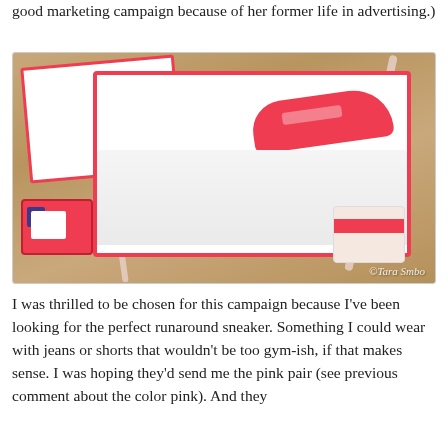good marketing campaign because of her former life in advertising.)
[Figure (photo): An open red-bordered shoe box viewed from above on a wooden table, containing a red sneaker and white tissue paper. A small red bag with logo is to the lower left, a tag to the lower right, and a white ribbon across the scene. Watermark reads '©Tara Smbo'.]
I was thrilled to be chosen for this campaign because I've been looking for the perfect runaround sneaker. Something I could wear with jeans or shorts that wouldn't be too gym-ish, if that makes sense. I was hoping they'd send me the pink pair (see previous comment about the color pink). And they